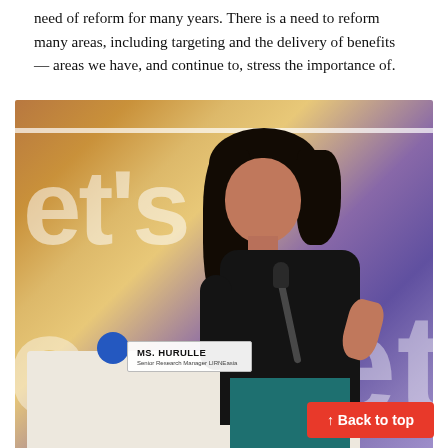need of reform for many years. There is a need to reform many areas, including targeting and the delivery of benefits — areas we have, and continue to, stress the importance of.
[Figure (photo): Photo of Ms. Hurulle, Senior Research Manager LIRNEasia, speaking at a panel event. She is seated in a white chair, holding a microphone, with a name placard in front. The background has large white text on a warm-to-purple gradient banner reading 'et's' and 'c...et'.]
↑ Back to top